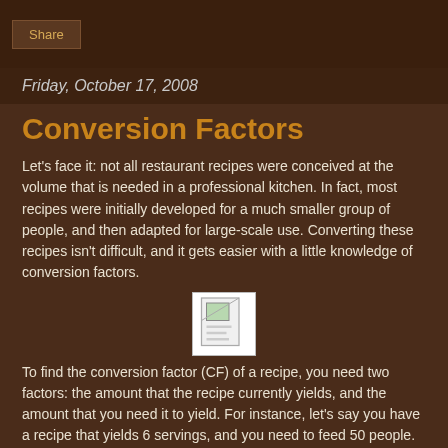Share
Friday, October 17, 2008
Conversion Factors
Let's face it: not all restaurant recipes were conceived at the volume that is needed in a professional kitchen. In fact, most recipes were initially developed for a much smaller group of people, and then adapted for large-scale use. Converting these recipes isn't difficult, and it gets easier with a little knowledge of conversion factors.
[Figure (illustration): Small placeholder image icon showing a document/image graphic]
To find the conversion factor (CF) of a recipe, you need two factors: the amount that the recipe currently yields, and the amount that you need it to yield. For instance, let's say you have a recipe that yields 6 servings, and you need to feed 50 people. 50 divided by 6 is 8.333, so you have a CF of 8. If